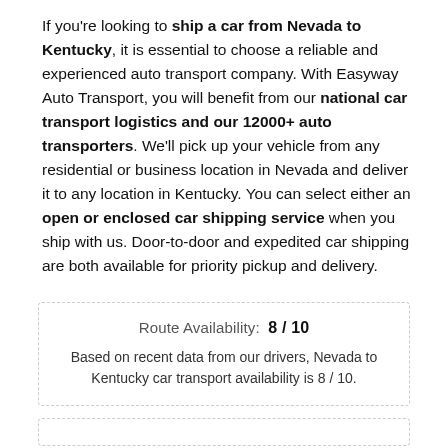If you're looking to ship a car from Nevada to Kentucky, it is essential to choose a reliable and experienced auto transport company. With Easyway Auto Transport, you will benefit from our national car transport logistics and our 12000+ auto transporters. We'll pick up your vehicle from any residential or business location in Nevada and deliver it to any location in Kentucky. You can select either an open or enclosed car shipping service when you ship with us. Door-to-door and expedited car shipping are both available for priority pickup and delivery.
Route Availability: 8 / 10
Based on recent data from our drivers, Nevada to Kentucky car transport availability is 8 / 10.